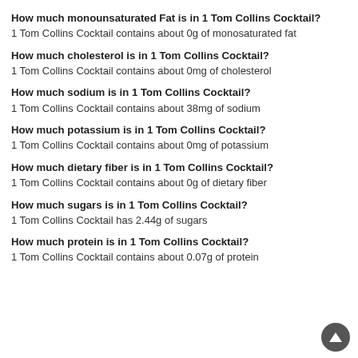How much monounsaturated Fat is in 1 Tom Collins Cocktail?
1 Tom Collins Cocktail contains about 0g of monosaturated fat
How much cholesterol is in 1 Tom Collins Cocktail?
1 Tom Collins Cocktail contains about 0mg of cholesterol
How much sodium is in 1 Tom Collins Cocktail?
1 Tom Collins Cocktail contains about 38mg of sodium
How much potassium is in 1 Tom Collins Cocktail?
1 Tom Collins Cocktail contains about 0mg of potassium
How much dietary fiber is in 1 Tom Collins Cocktail?
1 Tom Collins Cocktail contains about 0g of dietary fiber
How much sugars is in 1 Tom Collins Cocktail?
1 Tom Collins Cocktail has 2.44g of sugars
How much protein is in 1 Tom Collins Cocktail?
1 Tom Collins Cocktail contains about 0.07g of protein